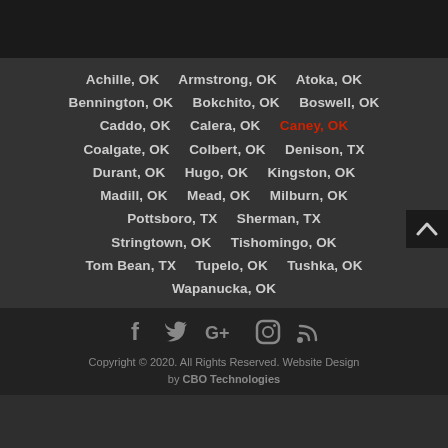Achille, OK   Armstrong, OK   Atoka, OK
Bennington, OK   Bokchito, OK   Boswell, OK
Caddo, OK   Calera, OK   Caney, OK
Coalgate, OK   Colbert, OK   Denison, TX
Durant, OK   Hugo, OK   Kingston, OK
Madill, OK   Mead, OK   Milburn, OK
Pottsboro, TX   Sherman, TX
Stringtown, OK   Tishomingo, OK
Tom Bean, TX   Tupelo, OK   Tushka, OK
Wapanucka, OK
[Figure (other): Social media icons: Facebook, Twitter, Google+, Instagram, RSS feed]
Copyright © 2020. All Rights Reserved. Website Design by CBO Technologies